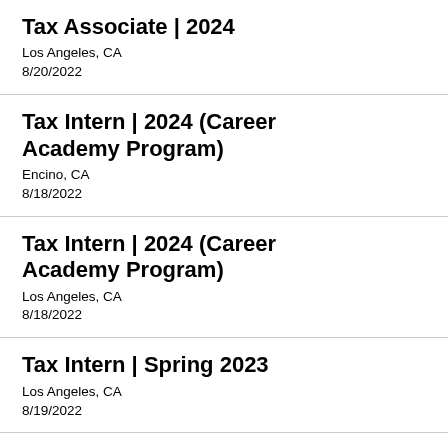Tax Associate | 2024
Los Angeles, CA
8/20/2022
Tax Intern | 2024 (Career Academy Program)
Encino, CA
8/18/2022
Tax Intern | 2024 (Career Academy Program)
Los Angeles, CA
8/18/2022
Tax Intern | Spring 2023
Los Angeles, CA
8/19/2022
Tax Intern | Spring 2023
Encino, CA
8/18/2022